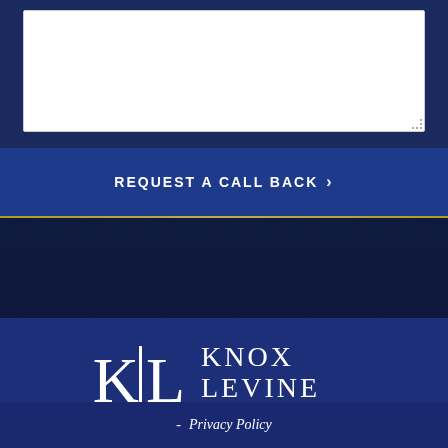[Figure (screenshot): White textarea input box on dark navy background, representing a form field for user message input]
REQUEST A CALL BACK >
[Figure (logo): Knox Levine Attorneys at Law logo with KL monogram on dark navy blue background]
- Privacy Policy